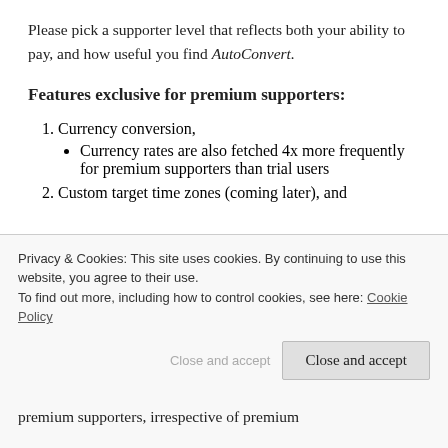Please pick a supporter level that reflects both your ability to pay, and how useful you find AutoConvert.
Features exclusive for premium supporters:
1. Currency conversion,
Currency rates are also fetched 4x more frequently for premium supporters than trial users
2. Custom target time zones (coming later), and
Privacy & Cookies: This site uses cookies. By continuing to use this website, you agree to their use. To find out more, including how to control cookies, see here: Cookie Policy
Close and accept
premium supporters, irrespective of premium